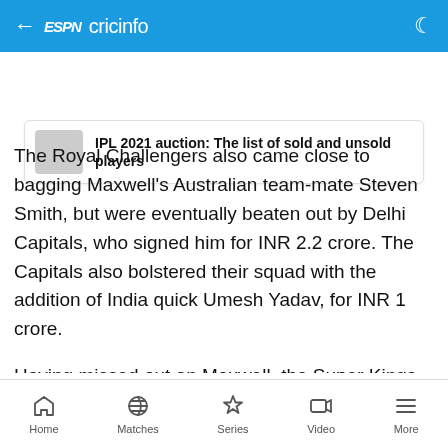ESPNcricinfo
IPL 2021 auction: The list of sold and unsold players
The Royal Challengers also came close to bagging Maxwell's Australian team-mate Steven Smith, but were eventually beaten out by Delhi Capitals, who signed him for INR 2.2 crore. The Capitals also bolstered their squad with the addition of India quick Umesh Yadav, for INR 1 crore.
Having missed out on Maxwell, the Super Kings did eventually manage to get another allrounder, fighting off bids from the Kings to land England's Moeen Ali for
Home  Matches  Series  Video  More